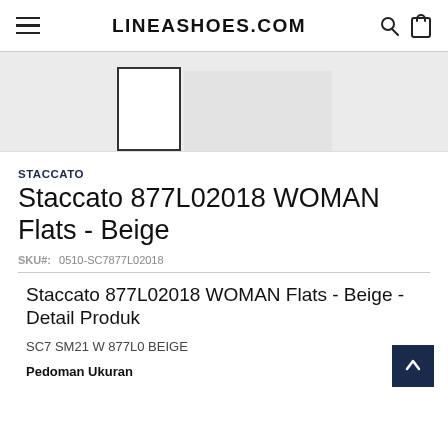LINEASHOES.COM
[Figure (photo): Product image thumbnails for Staccato women's flats in beige, showing a selected thumbnail and a main display area with light gray background]
STACCATO
Staccato 877L02018 WOMAN Flats - Beige
SKU#: 0510-SC7877L02018
Staccato 877L02018 WOMAN Flats - Beige - Detail Produk
SC7 SM21 W 877L0 BEIGE
Pedoman Ukuran